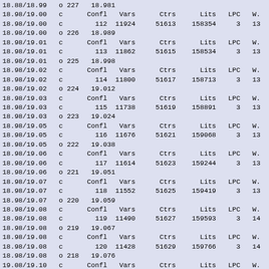| Range | Type | Col1 | Col2 | Col3 | Col4 | Col5 | Col6 |
| --- | --- | --- | --- | --- | --- | --- | --- |
| 18.88/18.99 | o | 227 | 18.981 |  |  |  |  |
| 18.98/19.00 | c | Confl | Vars | Ctrs | Lits | LPC | W. |
| 18.98/19.00 | c | 112 | 11924 | 51613 | 158354 | 3 | 13 |
| 18.98/19.00 | o | 226 | 18.989 |  |  |  |  |
| 18.98/19.01 | c | Confl | Vars | Ctrs | Lits | LPC | W. |
| 18.98/19.01 | c | 113 | 11862 | 51615 | 158534 | 3 | 13 |
| 18.98/19.01 | o | 225 | 18.998 |  |  |  |  |
| 18.98/19.02 | c | Confl | Vars | Ctrs | Lits | LPC | W. |
| 18.98/19.02 | c | 114 | 11800 | 51617 | 158713 | 3 | 13 |
| 18.98/19.02 | o | 224 | 19.012 |  |  |  |  |
| 18.98/19.03 | c | Confl | Vars | Ctrs | Lits | LPC | W. |
| 18.98/19.03 | c | 115 | 11738 | 51619 | 158891 | 3 | 13 |
| 18.98/19.03 | o | 223 | 19.024 |  |  |  |  |
| 18.98/19.05 | c | Confl | Vars | Ctrs | Lits | LPC | W. |
| 18.98/19.05 | c | 116 | 11676 | 51621 | 159068 | 3 | 13 |
| 18.98/19.05 | o | 222 | 19.038 |  |  |  |  |
| 18.98/19.06 | c | Confl | Vars | Ctrs | Lits | LPC | W. |
| 18.98/19.06 | c | 117 | 11614 | 51623 | 159244 | 3 | 13 |
| 18.98/19.06 | o | 221 | 19.051 |  |  |  |  |
| 18.98/19.07 | c | Confl | Vars | Ctrs | Lits | LPC | W. |
| 18.98/19.07 | c | 118 | 11552 | 51625 | 159419 | 3 | 13 |
| 18.98/19.07 | o | 220 | 19.059 |  |  |  |  |
| 18.98/19.08 | c | Confl | Vars | Ctrs | Lits | LPC | W. |
| 18.98/19.08 | c | 119 | 11490 | 51627 | 159593 | 3 | 14 |
| 18.98/19.08 | o | 219 | 19.067 |  |  |  |  |
| 18.98/19.08 | c | Confl | Vars | Ctrs | Lits | LPC | W. |
| 18.98/19.08 | c | 120 | 11428 | 51629 | 159766 | 3 | 14 |
| 18.98/19.08 | o | 218 | 19.076 |  |  |  |  |
| 19.08/19.10 | c | Confl | Vars | Ctrs | Lits | LPC | W. |
| 19.08/19.10 | c | 121 | 11366 | 51631 | 159938 | 3 | 14 |
| 19.08/19.10 | o | 217 | 19.088 |  |  |  |  |
| 19.08/19.11 | c | Confl | Vars | Ctrs | Lits | LPC | W. |